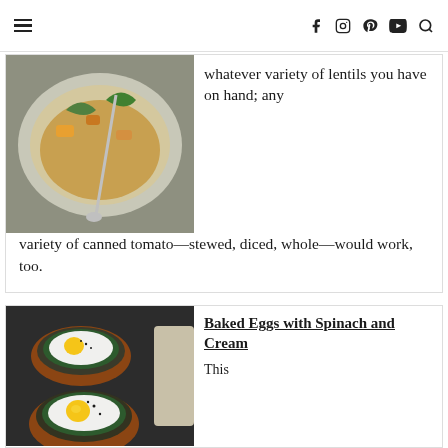Navigation header with menu icon and social icons: Facebook, Instagram, Pinterest, YouTube, Search
[Figure (photo): Bowl of lentil soup with vegetables and a spoon, on a gray cloth background]
whatever variety of lentils you have on hand; any variety of canned tomato—stewed, diced, whole—would work, too.
[Figure (photo): Two terracotta ramekins with baked eggs on a bed of spinach, sprinkled with black pepper, on a dark background]
Baked Eggs with Spinach and Cream
This